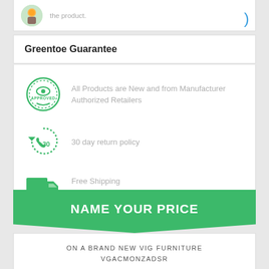the product.
Greentoe Guarantee
All Products are New and from Manufacturer Authorized Retailers
30 day return policy
Free Shipping
No Additional Fees
NAME YOUR PRICE
ON A BRAND NEW VIG FURNITURE
VGACMONZADSR